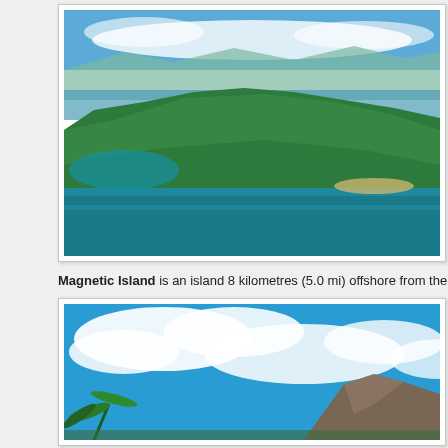[Figure (photo): Aerial photograph of Magnetic Island, showing green forested hills surrounded by turquoise water, with mountains and coastline in the background under a blue sky with white clouds.]
Magnetic Island is an island 8 kilometres (5.0 mi) offshore from the city of Town
[Figure (photo): Ground-level photograph showing a rocky mountain peak with palm tree fronds visible, under a bright blue sky with large white clouds.]